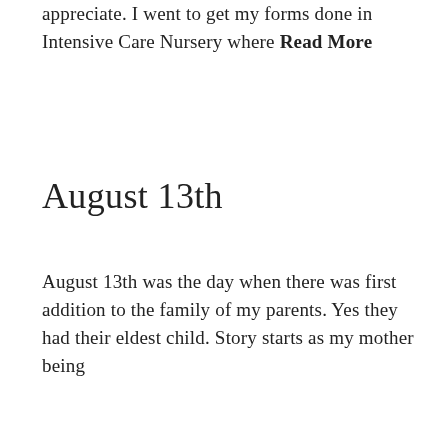appreciate. I went to get my forms done in Intensive Care Nursery where Read More
August 13th
August 13th was the day when there was first addition to the family of my parents. Yes they had their eldest child. Story starts as my mother being